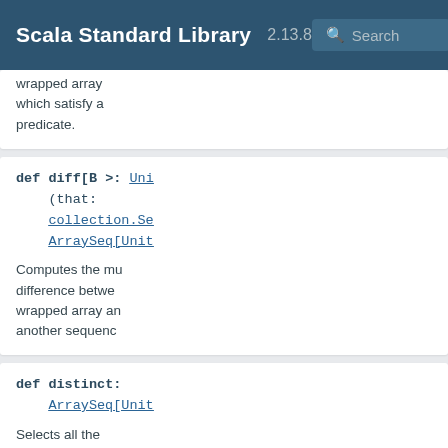Scala Standard Library 2.13.8
wrapped array which satisfy a predicate.
def diff[B >: Unit](that: collection.Seq ArraySeq[Unit
Computes the multiset difference between this wrapped array and another sequence.
def distinct: ArraySeq[Unit
Selects all the elements of this wrapped array ignoring the duplicates.
def distinctBy[B](f: (Unit) =>